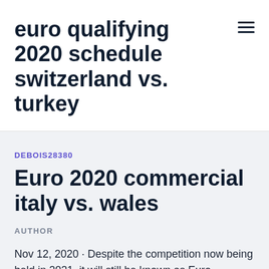euro qualifying 2020 schedule switzerland vs. turkey
DEBOIS28380
Euro 2020 commercial italy vs. wales
AUTHOR
Nov 12, 2020 · Despite the competition now being held in 2021, it will still be known as Euro 2020.Group A Italy Switzerland Turkey Wales Fixtures: Date Fixture City